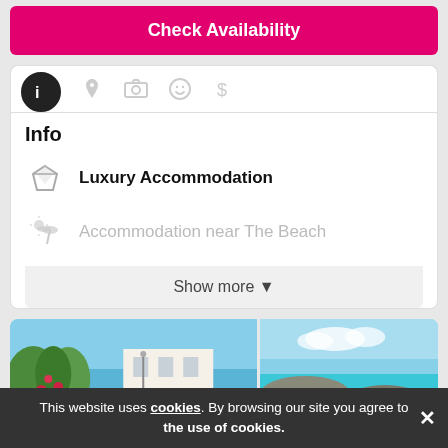Check Availability
Info
Luxury Accommodation
Accommodation near The Beach
Show more ▼
[Figure (photo): Two photos side by side: left shows a Mediterranean property with white walls, red flowers and greenery with blue sea in background; right shows a turquoise rocky coastline.]
Categories 1
This website uses cookies. By browsing our site you agree to the use of cookies.